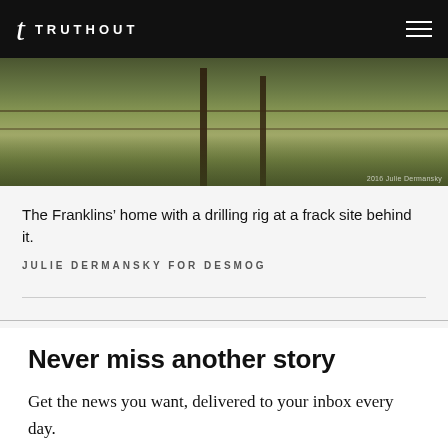TRUTHOUT
[Figure (photo): A rural scene showing dry grassy field with a fence post and wire fence, with a drilling rig visible behind the Franklins' home (partially cropped at top).]
The Franklins’ home with a drilling rig at a frack site behind it.
JULIE DERMANSKY FOR DESMOG
Never miss another story
Get the news you want, delivered to your inbox every day.